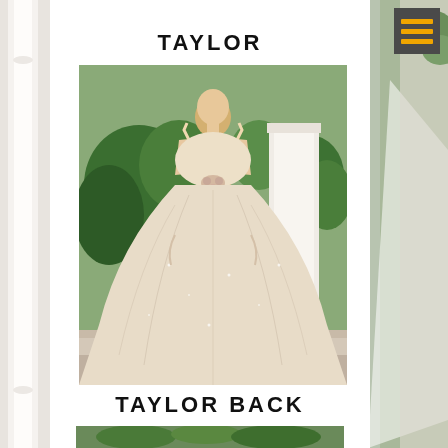TAYLOR
[Figure (photo): Back view of a woman in a sparkly A-line wedding dress with V-back and thin straps, standing near a white column with greenery in the background]
TAYLOR BACK
[Figure (photo): Bottom strip of another wedding dress photo, showing green foliage background]